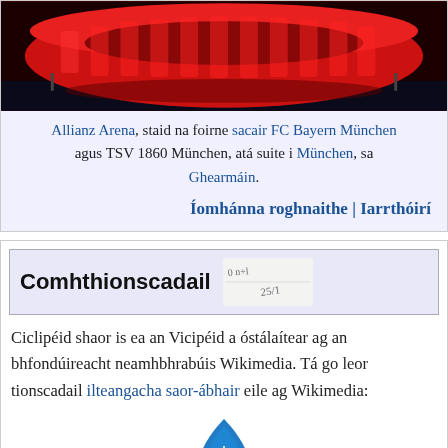[Figure (photo): Allianz Arena stadium lit up in red at night]
Allianz Arena, staid na foirne sacair FC Bayern München agus TSV 1860 München, atá suite i München, sa Ghearmáin.
Íomhánna roghnaithe | Iarrthóirí
Comhthionscadail
Ciclipéid shaor is ea an Vicipéid a óstálaítear ag an bhfondúireacht neamhbhrabúis Wikimedia. Tá go leor tionscadail ilteangacha saor-ábhair eile ag Wikimedia:
[Figure (logo): Wikimedia logo - blue droplet with red dot]
Cómhaoin
Comhachmhainní meán